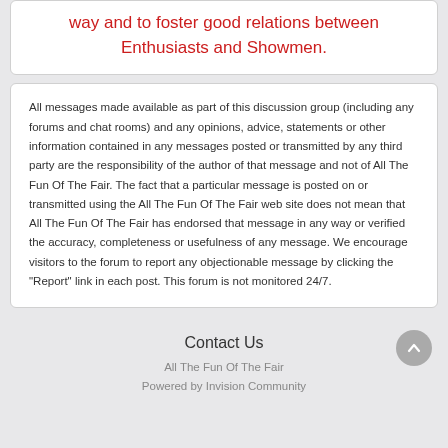way and to foster good relations between Enthusiasts and Showmen.
All messages made available as part of this discussion group (including any forums and chat rooms) and any opinions, advice, statements or other information contained in any messages posted or transmitted by any third party are the responsibility of the author of that message and not of All The Fun Of The Fair. The fact that a particular message is posted on or transmitted using the All The Fun Of The Fair web site does not mean that All The Fun Of The Fair has endorsed that message in any way or verified the accuracy, completeness or usefulness of any message. We encourage visitors to the forum to report any objectionable message by clicking the "Report" link in each post. This forum is not monitored 24/7.
Contact Us
All The Fun Of The Fair
Powered by Invision Community